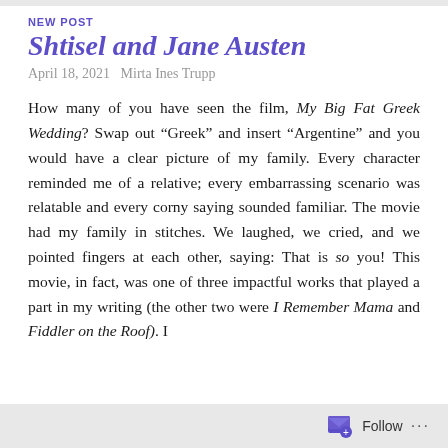NEW POST
Shtisel and Jane Austen
April 18, 2021   Mirta Ines Trupp
How many of you have seen the film, My Big Fat Greek Wedding? Swap out “Greek” and insert “Argentine” and you would have a clear picture of my family. Every character reminded me of a relative; every embarrassing scenario was relatable and every corny saying sounded familiar. The movie had my family in stitches. We laughed, we cried, and we pointed fingers at each other, saying: That is so you! This movie, in fact, was one of three impactful works that played a part in my writing (the other two were I Remember Mama and Fiddler on the Roof). I
Follow ...